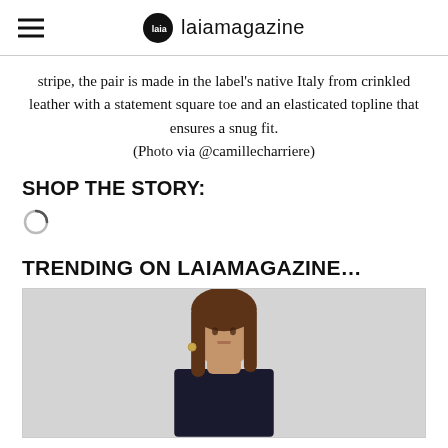laiamagazine
stripe, the pair is made in the label's native Italy from crinkled leather with a statement square toe and an elasticated topline that ensures a snug fit.
(Photo via @camillecharriere)
SHOP THE STORY:
[Figure (other): Loading spinner icon]
TRENDING ON LAIAMAGAZINE…
[Figure (photo): Fashion photo of a woman with long brown hair wearing a dark top, shot against a light grey background]